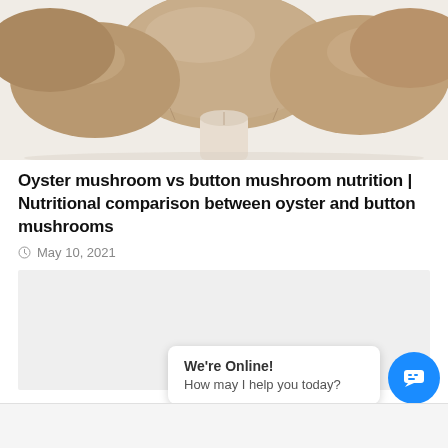[Figure (photo): Close-up photograph of several brown button/cremini mushrooms on white background, cropped at top of page]
Oyster mushroom vs button mushroom nutrition | Nutritional comparison between oyster and button mushrooms
May 10, 2021
[Figure (photo): Light grey placeholder image for a second article about mushroom cultivation equipment]
What are the equipment required for mushroom cultivation?
January 27, 2021
We're Online!
How may I help you today?